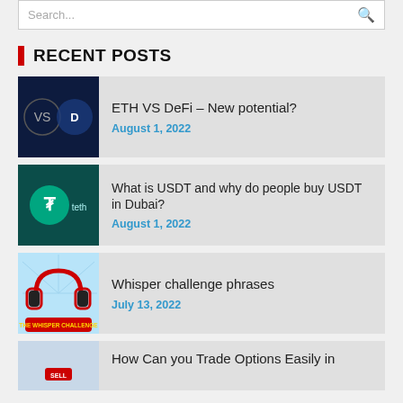Search...
RECENT POSTS
ETH VS DeFi – New potential? | August 1, 2022
What is USDT and why do people buy USDT in Dubai? | August 1, 2022
Whisper challenge phrases | July 13, 2022
How Can you Trade Options Easily in...